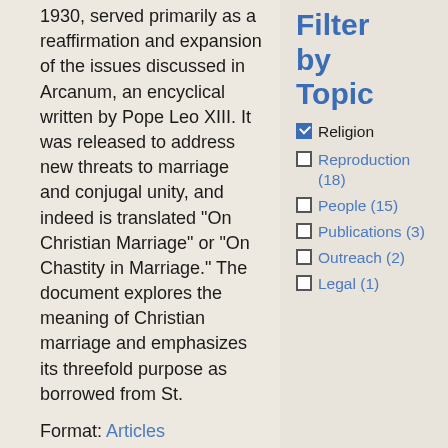1930, served primarily as a reaffirmation and expansion of the issues discussed in Arcanum, an encyclical written by Pope Leo XIII. It was released to address new threats to marriage and conjugal unity, and indeed is translated "On Christian Marriage" or "On Chastity in Marriage." The document explores the meaning of Christian marriage and emphasizes its threefold purpose as borrowed from St.
Format: Articles
Subject: Religion
Filter by Topic
Religion (checked)
Reproduction (18)
People (15)
Publications (3)
Outreach (2)
Legal (1)